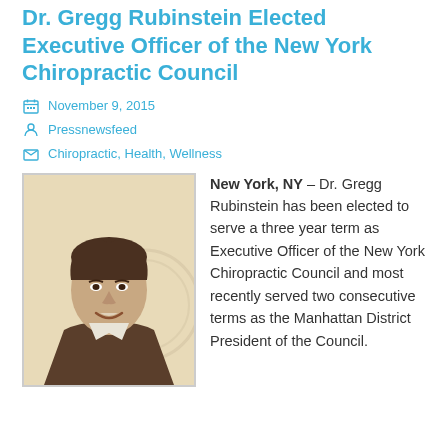Dr. Gregg Rubinstein Elected Executive Officer of the New York Chiropractic Council
November 9, 2015
Pressnewsfeed
Chiropractic, Health, Wellness
[Figure (photo): Portrait photo of Dr. Gregg Rubinstein, a middle-aged man with dark hair, smiling, wearing a brown jacket and light shirt.]
New York, NY – Dr. Gregg Rubinstein has been elected to serve a three year term as Executive Officer of the New York Chiropractic Council and most recently served two consecutive terms as the Manhattan District President of the Council.